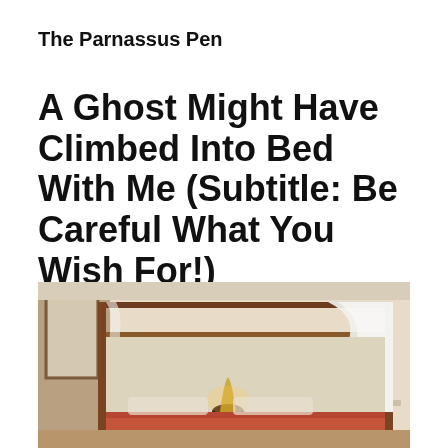The Parnassus Pen
A Ghost Might Have Climbed Into Bed With Me (Subtitle: Be Careful What You Wish For!)
[Figure (photo): A four-poster bed with wooden frame and white draped canopy in a warmly lit hotel or guest room, with a bedside lamp glowing and colorful bedding visible at the bottom.]